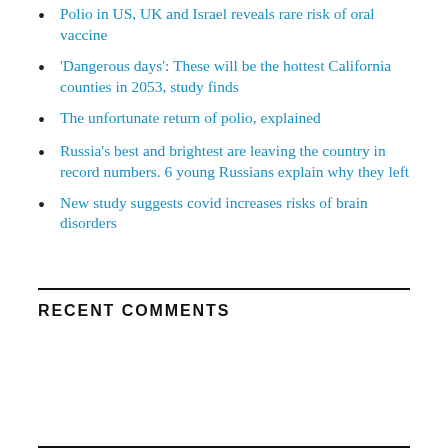Polio in US, UK and Israel reveals rare risk of oral vaccine
'Dangerous days': These will be the hottest California counties in 2053, study finds
The unfortunate return of polio, explained
Russia's best and brightest are leaving the country in record numbers. 6 young Russians explain why they left
New study suggests covid increases risks of brain disorders
RECENT COMMENTS